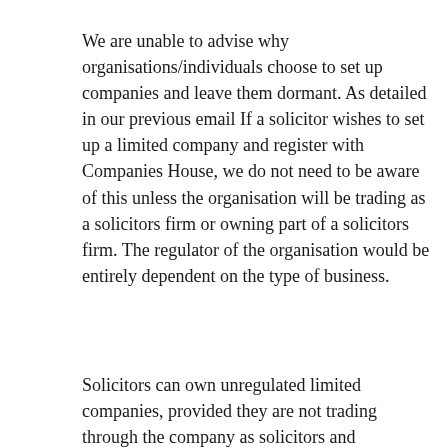We are unable to advise why organisations/individuals choose to set up companies and leave them dormant. As detailed in our previous email If a solicitor wishes to set up a limited company and register with Companies House, we do not need to be aware of this unless the organisation will be trading as a solicitors firm or owning part of a solicitors firm. The regulator of the organisation would be entirely dependent on the type of business.
Solicitors can own unregulated limited companies, provided they are not trading through the company as solicitors and